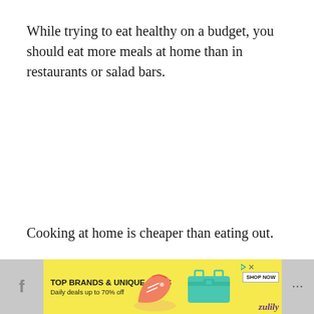While trying to eat healthy on a budget, you should eat more meals at home than in restaurants or salad bars.
Cooking at home is cheaper than eating out.
[Figure (screenshot): Advertisement banner from Facebook's mobile browser. Yellow background ad for Zulily showing 'TOP BRANDS & UNIQUE FINDS - Daily deals up to 70% off' with shoe and bag images, SHOP NOW button, and Zulily logo. Gray bar with Facebook 'f' icon on left and three dots menu on right.]